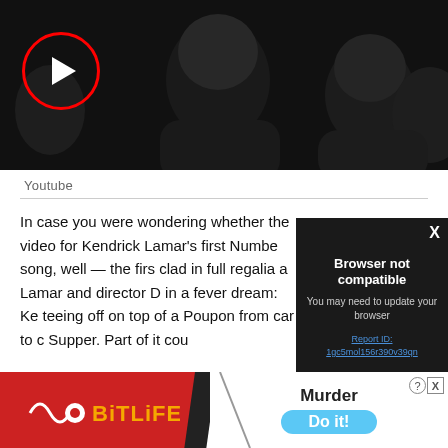[Figure (screenshot): Video thumbnail showing bald figures in dark setting with red-circled play button overlay]
Youtube
In case you were wondering whether the video for Kendrick Lamar's first Numbe song, well — the firs clad in full regalia a Lamar and director D in a fever dream: Ke teeing off on top of a Poupon from car to c Supper. Part of it cou
[Figure (screenshot): Browser not compatible modal overlay. Text: 'Browser not compatible. You may need to update your browser. Report ID: 1gc5mol156r390v39qn']
[Figure (screenshot): BitLife advertisement banner with 'Murder Do it!' promotion]